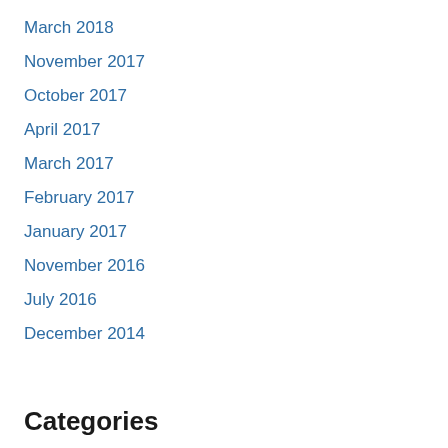March 2018
November 2017
October 2017
April 2017
March 2017
February 2017
January 2017
November 2016
July 2016
December 2014
Categories